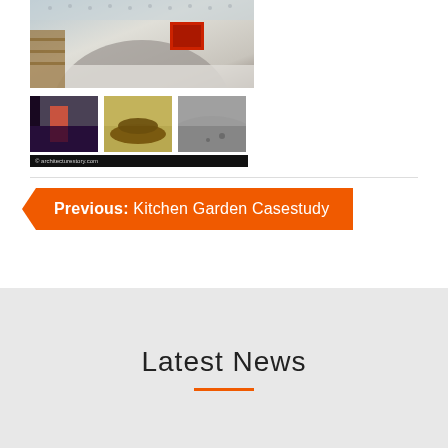[Figure (photo): Main architectural interior photo showing concrete structure with red element, curved wall]
[Figure (photo): Three thumbnail photos of architectural interior spaces]
© architecturestory.com
Previous: Kitchen Garden Casestudy
Latest News